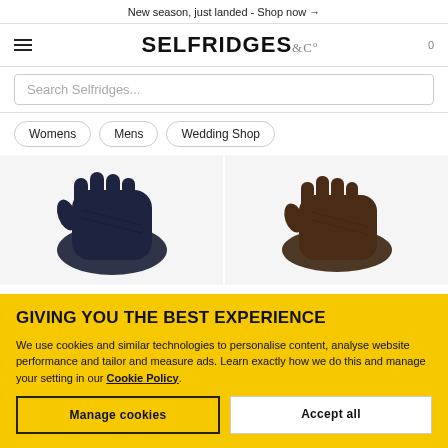New season, just landed - Shop now →
[Figure (logo): Selfridges & Co logo with hamburger menu and cart count 0]
Search Selfridges...
Womens
Mens
Wedding Shop
[Figure (photo): Navy/dark blue leather gloves product photo on light grey background]
[Figure (photo): Dark brown leather gloves product photo on light grey background]
GIVING YOU THE BEST EXPERIENCE
We use cookies and similar technologies to personalise content, analyse website performance and tailor and measure ads. Learn exactly how we do this and manage your setting in our Cookie Policy.
Manage cookies
Accept all